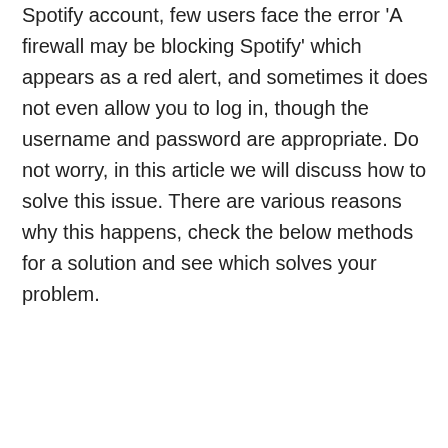Spotify account, few users face the error 'A firewall may be blocking Spotify' which appears as a red alert, and sometimes it does not even allow you to log in, though the username and password are appropriate. Do not worry, in this article we will discuss how to solve this issue. There are various reasons why this happens, check the below methods for a solution and see which solves your problem.